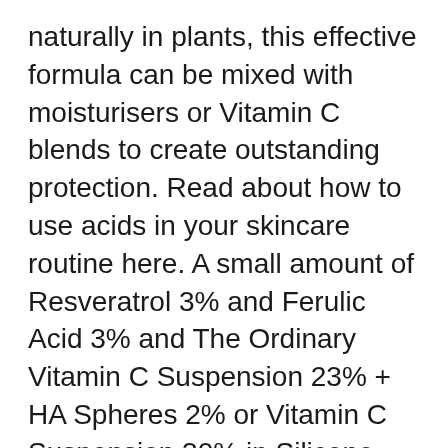naturally in plants, this effective formula can be mixed with moisturisers or Vitamin C blends to create outstanding protection. Read about how to use acids in your skincare routine here. A small amount of Resveratrol 3% and Ferulic Acid 3% and The Ordinary Vitamin C Suspension 23% + HA Spheres 2% or Vitamin C Suspension 30% in Silicone can be diluted in any one of our oils at each application to form an outstanding antioxidant network of Vitamin C, Ferulic Acid and Resveratrol in lipids. It is recommended to keep this mixture
Formule antioxydante à haute puissance sans eau Cette formule